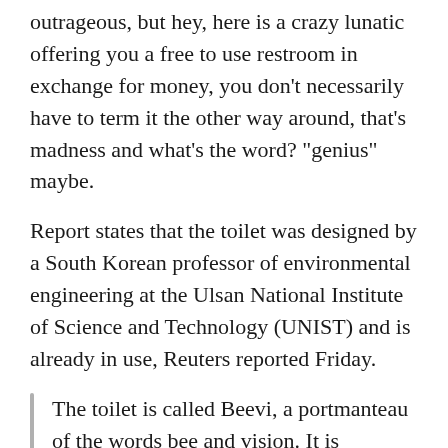outrageous, but hey, here is a crazy lunatic offering you a free to use restroom in exchange for money, you don't necessarily have to term it the other way around, that's madness and what's the word? "genius" maybe.
Report states that the toilet was designed by a South Korean professor of environmental engineering at the Ulsan National Institute of Science and Technology (UNIST) and is already in use, Reuters reported Friday.
The toilet is called Beevi, a portmanteau of the words bee and vision. It is connected to a laboratory that uses excrement to produce biogas and manure.
When in use, a vacuum pump sends feces into an underground tank, reducing water use, and the